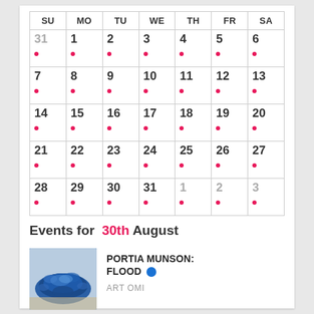| SU | MO | TU | WE | TH | FR | SA |
| --- | --- | --- | --- | --- | --- | --- |
| 31 | 1 | 2 | 3 | 4 | 5 | 6 |
| 7 | 8 | 9 | 10 | 11 | 12 | 13 |
| 14 | 15 | 16 | 17 | 18 | 19 | 20 |
| 21 | 22 | 23 | 24 | 25 | 26 | 27 |
| 28 | 29 | 30 | 31 | 1 | 2 | 3 |
Events for 30th August
[Figure (photo): Blue sculptural artwork — Portia Munson: Flood]
PORTIA MUNSON: FLOOD
ART OMI